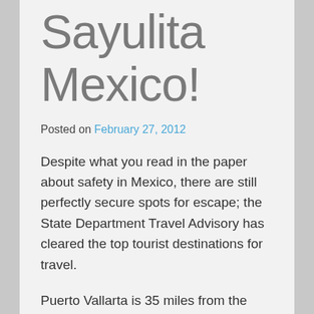Sayulita Mexico!
Posted on February 27, 2012
Despite what you read in the paper about safety in Mexico, there are still perfectly secure spots for escape; the State Department Travel Advisory has cleared the top tourist destinations for travel.
Puerto Vallarta is 35 miles from the sleepy coastal villages of Sayulita and Nayarit. A quick flight across the border and a short drive transports you to a number of five star properties and luxury villas. Stylish, comfortable and safe havens a few miles from